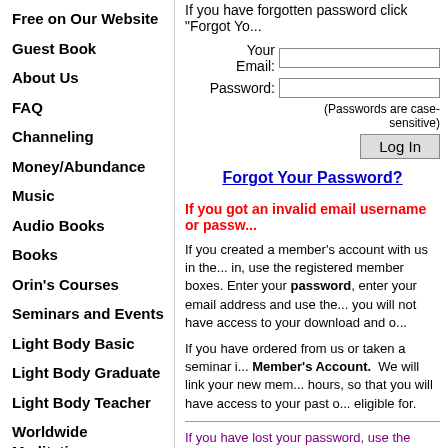Free on Our Website
Guest Book
About Us
FAQ
Channeling
Money/Abundance
Music
Audio Books
Books
Orin's Courses
Seminars and Events
Light Body Basic
Light Body Graduate
Light Body Teacher
Worldwide Meditations
Customer Service
If you have forgotten password click "Forgot Yo...
Your Email: [input] Password: [input] (Passwords are case-sensitive)
Log In
Forgot Your Password?
If you got an invalid email username or passw...
If you created a member's account with us in the... in, use the registered member boxes. Enter your password, enter your email address and use the... you will not have access to your download and o...
If you have ordered from us or taken a seminar i... Member's Account. We will link your new mem... hours, so that you will have access to your past o... eligible for.
If you have lost your password, use the Forge...
If you get the message: Your Email Message...